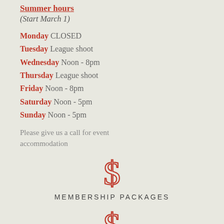Summer hours
(Start March 1)
Monday CLOSED
Tuesday League shoot
Wednesday Noon - 8pm
Thursday League shoot
Friday Noon - 8pm
Saturday Noon - 5pm
Sunday Noon - 5pm
Please give us a call for event accommodation
[Figure (illustration): Decorative dollar sign icon in red outline style]
MEMBERSHIP PACKAGES
[Figure (illustration): Decorative dollar sign icon in red outline style]
MEMBERSHIP PACKAGES